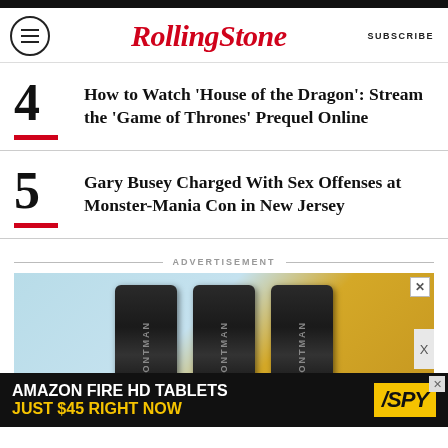RollingStone — SUBSCRIBE
4 — How to Watch 'House of the Dragon': Stream the 'Game of Thrones' Prequel Online
5 — Gary Busey Charged With Sex Offenses at Monster-Mania Con in New Jersey
ADVERTISEMENT
[Figure (photo): Advertisement showing three FRONTMAN product tubes against a blue and gold background]
[Figure (photo): Bottom banner ad: AMAZON FIRE HD TABLETS JUST $45 RIGHT NOW — SPY logo]